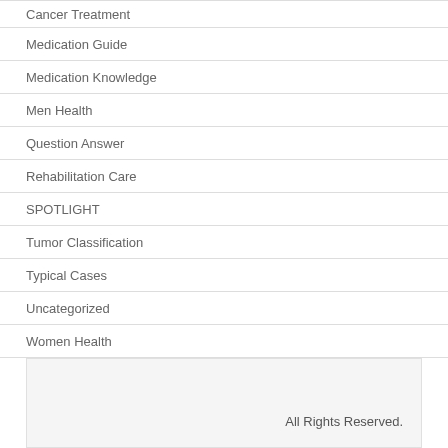Cancer Treatment
Medication Guide
Medication Knowledge
Men Health
Question Answer
Rehabilitation Care
SPOTLIGHT
Tumor Classification
Typical Cases
Uncategorized
Women Health
All Rights Reserved.